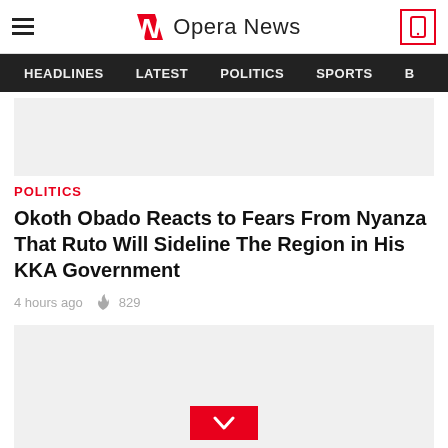Opera News
HEADLINES  LATEST  POLITICS  SPORTS
[Figure (other): Advertisement placeholder banner]
POLITICS
Okoth Obado Reacts to Fears From Nyanza That Ruto Will Sideline The Region in His KKA Government
4 hours ago  829
[Figure (other): Advertisement placeholder with red chevron button]